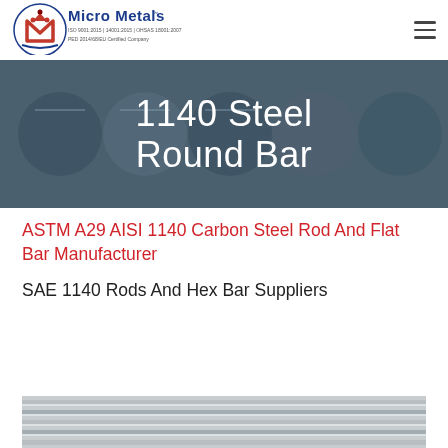[Figure (logo): Micro Metals logo with red and blue M emblem, company name, ISO and PED certifications]
1140 Steel Round Bar
ASTM A29 AISI 1140 Carbon Steel Rod And Flat Bar Manufacturer
SAE 1140 Rods And Hex Bar Suppliers
[Figure (photo): Photo of multiple steel round bars arranged parallel, shown from end/side angle]